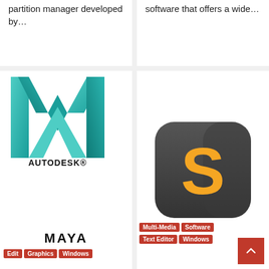partition manager developed by…
software that offers a wide…
[Figure (logo): Autodesk Maya logo — teal/green M shape with AUTODESK wordmark below and MAYA text, with category tags: Edit, Graphics, Windows]
Autodesk Maya 2023.3 Crack + Keygen Download [Latest]
2 days ago
Autodesk Maya 2023.3
[Figure (logo): Sublime Text logo — dark rounded square icon with orange S letter, with category tags: Multi-Media, Software, Text Editor, Windows]
Sublime Text 4 Crack Build 4134 + License Key [Latest 2022]
2 days ago
Sublime Text 4 Crack Build